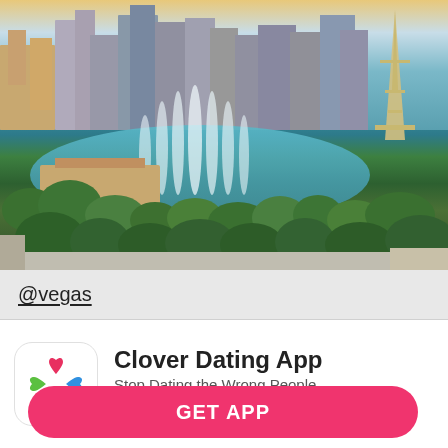[Figure (photo): Aerial photo of Las Vegas Strip with Bellagio fountains, the strip hotels, trees, and the Eiffel Tower replica visible on the right]
@vegas
[Figure (logo): Clover Dating App icon: white rounded square with four hearts in red, green, blue, and orange forming a clover shape]
Clover Dating App
Stop Dating the Wrong People
★★★★½ 129K
GET APP